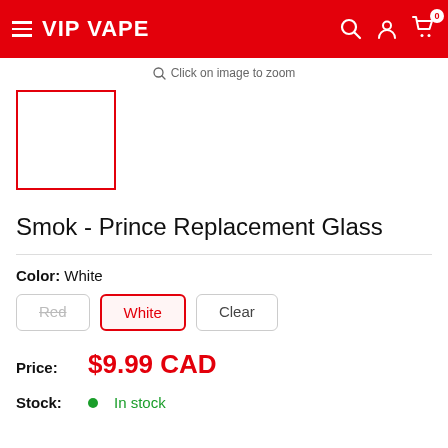VIP VAPE
Click on image to zoom
[Figure (other): Product thumbnail placeholder box with red border]
Smok - Prince Replacement Glass
Color: White
Red  White  Clear
Price: $9.99 CAD
Stock: In stock